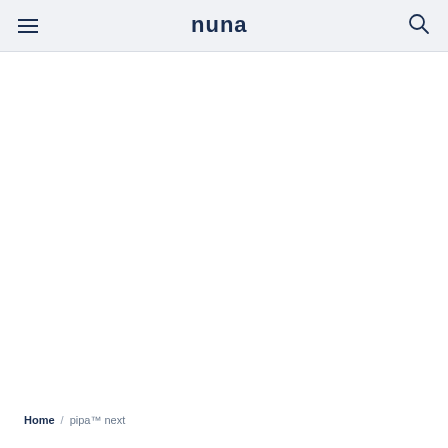nuna navigation bar with hamburger menu and search icon
Home / pipa™ next